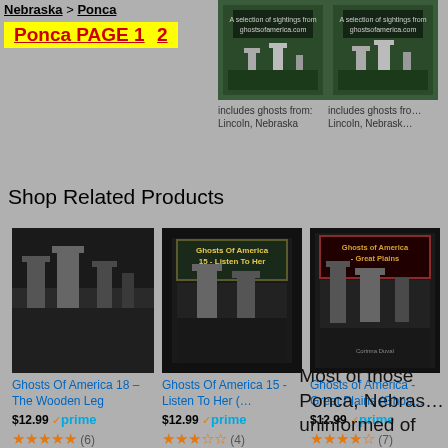Nebraska > Ponca
Ponca PAGE 1  2
[Figure (photo): Book cover with cemetery image - includes ghosts from: Lincoln, Nebraska]
[Figure (photo): Book cover with cemetery image - includes ghosts from: Lincoln, Nebraska]
Shop Related Products
[Figure (photo): Book cover: Ghosts Of America 18 - The Wooden Leg, cemetery photo]
Ghosts Of America 18 – The Wooden Leg
$12.99 prime (6)
[Figure (photo): Book cover: Ghosts Of America 15 - Listen To Her, cemetery photo]
Ghosts Of America 15 - Listen To Her (...
$12.99 prime (4)
[Figure (photo): Book cover: Ghosts of America - Great Plains]
Ghosts of America - Great Plains (Ghos…
$12.99 prime (7)
Most of those Ponca, Nebras… uninformed of